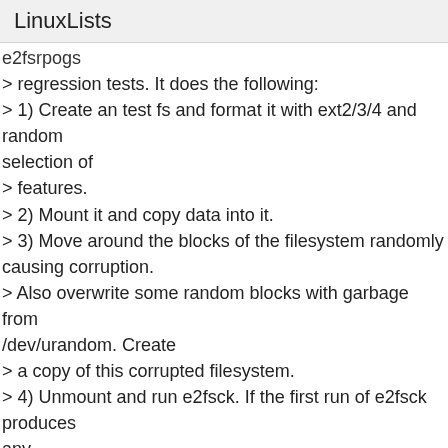LinuxLists
e2fsrpogs
> regression tests. It does the following:
> 1) Create an test fs and format it with ext2/3/4 and random selection of
> features.
> 2) Mount it and copy data into it.
> 3) Move around the blocks of the filesystem randomly causing corruption.
> Also overwrite some random blocks with garbage from /dev/urandom. Create
> a copy of this corrupted filesystem.
> 4) Unmount and run e2fsck. If the first run of e2fsck produces any
> errors like uncorrected errors, library error, segfault, usage error,